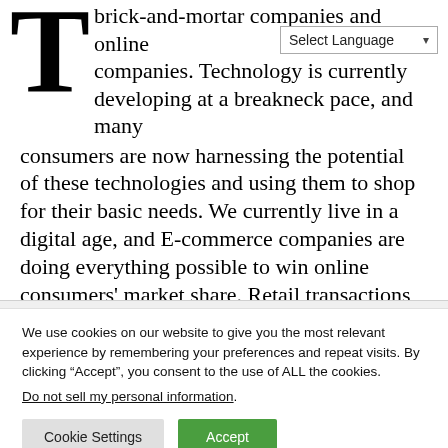brick-and-mortar companies and online companies. Technology is currently developing at a breakneck pace, and many consumers are now harnessing the potential of these technologies and using them to shop for their basic needs. We currently live in a digital age, and E-commerce companies are doing everything possible to win online consumers' market share. Retail transactions are now being conducted at the speed of a click. Consumers are forever seeking ways to make their shopping experience
We use cookies on our website to give you the most relevant experience by remembering your preferences and repeat visits. By clicking “Accept”, you consent to the use of ALL the cookies.
Do not sell my personal information.